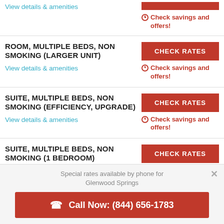View details & amenities
Check savings and offers!
ROOM, MULTIPLE BEDS, NON SMOKING (LARGER UNIT)
View details & amenities
CHECK RATES
Check savings and offers!
SUITE, MULTIPLE BEDS, NON SMOKING (EFFICIENCY, UPGRADE)
View details & amenities
CHECK RATES
Check savings and offers!
SUITE, MULTIPLE BEDS, NON SMOKING (1 BEDROOM)
View details & amenities
CHECK RATES
Check savings and
Special rates available by phone for Glenwood Springs
Call Now: (844) 656-1783